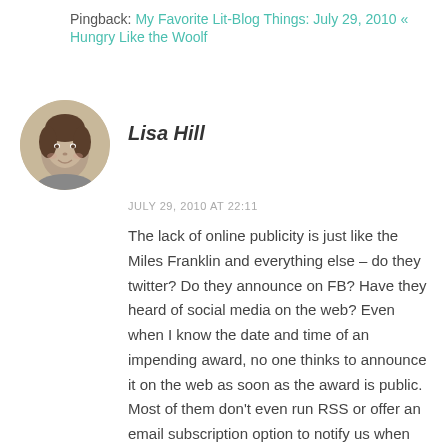Pingback: My Favorite Lit-Blog Things: July 29, 2010 « Hungry Like the Woolf
[Figure (photo): Circular avatar photo of a young girl in black and white]
Lisa Hill
JULY 29, 2010 AT 22:11
The lack of online publicity is just like the Miles Franklin and everything else – do they twitter? Do they announce on FB? Have they heard of social media on the web? Even when I know the date and time of an impending award, no one thinks to announce it on the web as soon as the award is public. Most of them don't even run RSS or offer an email subscription option to notify us when there's news. Fuddy duddies! Lisa